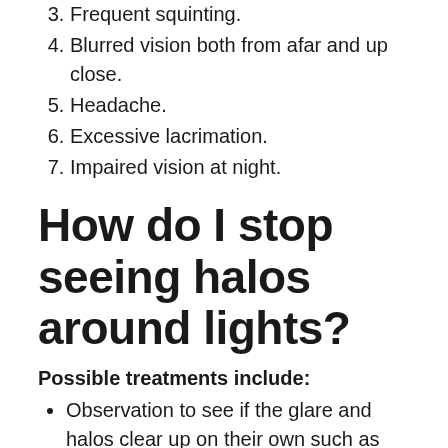3. Frequent squinting.
4. Blurred vision both from afar and up close.
5. Headache.
6. Excessive lacrimation.
7. Impaired vision at night.
How do I stop seeing halos around lights?
Possible treatments include:
Observation to see if the glare and halos clear up on their own such as after LASIK surgery.
Medicated eye drops.
Treatment for cataracts.